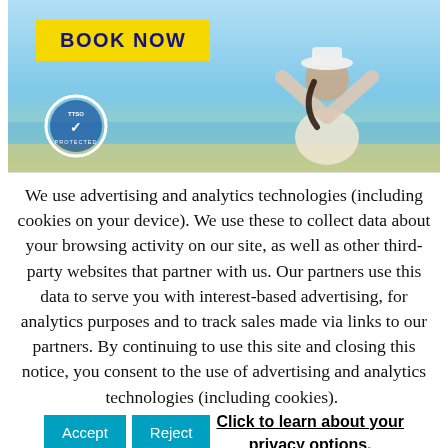[Figure (illustration): Travel advertisement banner with blue sky background, 'BOOK NOW' yellow button, TTSO Protected circular trust badge on left, and silhouette of a woman with arms raised seated at a beach.]
We use advertising and analytics technologies (including cookies on your device). We use these to collect data about your browsing activity on our site, as well as other third-party websites that partner with us. Our partners use this data to serve you with interest-based advertising, for analytics purposes and to track sales made via links to our partners. By continuing to use this site and closing this notice, you consent to the use of advertising and analytics technologies (including cookies).
Click to learn about your privacy options.